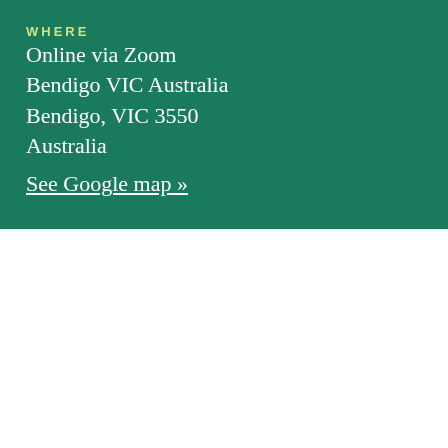WHERE
Online via Zoom
Bendigo VIC Australia
Bendigo, VIC 3550
Australia
See Google map »